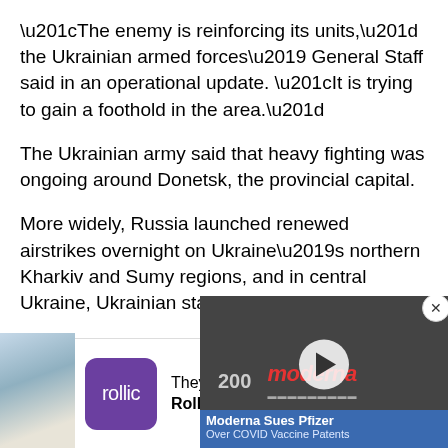“The enemy is reinforcing its units,” the Ukrainian armed forces’ General Staff said in an operational update. “It is trying to gain a foothold in the area.”
The Ukrainian army said that heavy fighting was ongoing around Donetsk, the provincial capital.
More widely, Russia launched renewed airstrikes overnight on Ukraine’s northern Kharkiv and Sumy regions, and in central Ukraine, Ukrainian state agencies said.
The State Emergency Servic…
[Figure (screenshot): Advertisement banner for Rollic Games showing purple icon with 'rollic' text and ad title 'They Are Coming! Rollic Games']
[Figure (screenshot): Video overlay showing Moderna building with '200' sign, Moderna logo in red italic text, play button, and blue caption bar reading 'Moderna Sues Pfizer Over COVID Vaccine Patents'. Close button (X) in top right corner.]